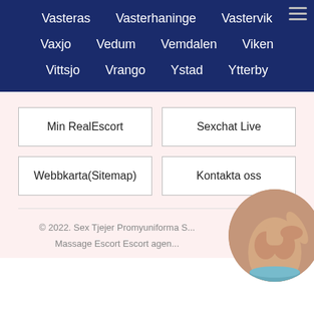Vasteras   Vasterhaninge   Vastervik
Vaxjo   Vedum   Vemdalen   Viken
Vittsjo   Vrango   Ystad   Ytterby
Min RealEscort
Sexchat Live
Webbkarta(Sitemap)
Kontakta oss
© 2022. Sex Tjejer Promyuniforma S... Massage Escort Escort agen...
[Figure (photo): Circular cropped photo of a woman in the bottom right corner]